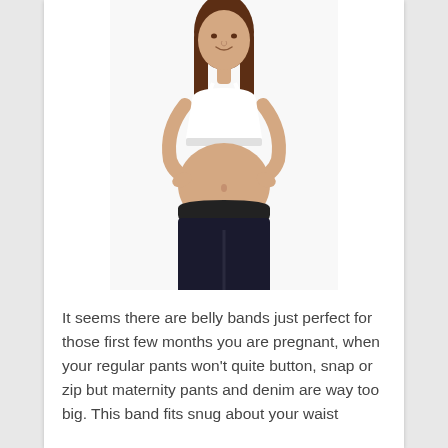[Figure (photo): A pregnant woman with brown hair wearing a white sports bra top and dark maternity jeans, hands on hips showing her bare pregnant belly, photographed against a white background.]
It seems there are belly bands just perfect for those first few months you are pregnant, when your regular pants won't quite button, snap or zip but maternity pants and denim are way too big. This band fits snug about your waist